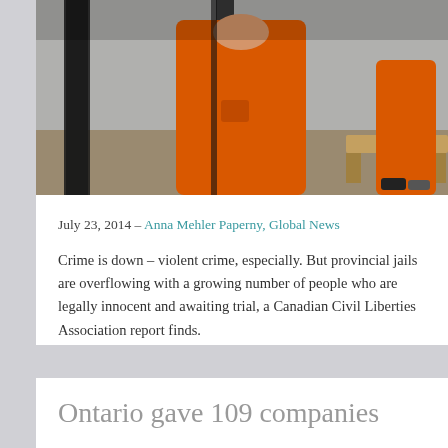[Figure (photo): Photo of person in orange prison jumpsuit standing behind bars, hands clasped, viewed from torso down]
July 23, 2014 – Anna Mehler Paperny, Global News
Crime is down – violent crime, especially. But provincial jails are overflowing with a growing number of people who are legally innocent and awaiting trial, a Canadian Civil Liberties Association report finds.
Continue reading →
Ontario gave 109 companies